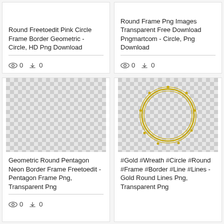Round Freetoedit Pink Circle Frame Border Geometric - Circle, HD Png Download
0  0
Round Frame Png Images Transparent Free Download Pngmartcom - Circle, Png Download
0  0
[Figure (photo): Checkerboard transparent background placeholder]
Geometric Round Pentagon Neon Border Frame Freetoedit - Pentagon Frame Png, Transparent Png
0  0
[Figure (photo): Gold wreath circle round frame with decorative dots on checkerboard transparent background]
#Gold #Wreath #Circle #Round #Frame #Border #Line #Lines - Gold Round Lines Png, Transparent Png